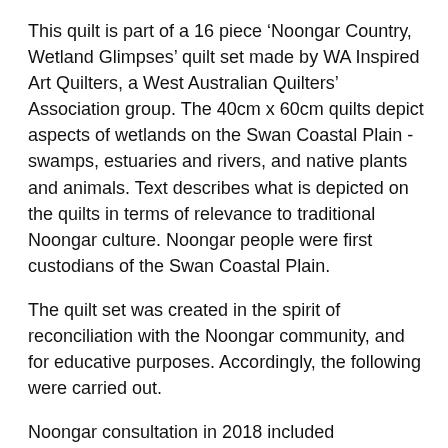This quilt is part of a 16 piece ‘Noongar Country, Wetland Glimpses’ quilt set made by WA Inspired Art Quilters, a West Australian Quilters’ Association group. The 40cm x 60cm quilts depict aspects of wetlands on the Swan Coastal Plain - swamps, estuaries and rivers, and native plants and animals. Text describes what is depicted on the quilts in terms of relevance to traditional Noongar culture. Noongar people were first custodians of the Swan Coastal Plain.
The quilt set was created in the spirit of reconciliation with the Noongar community, and for educative purposes. Accordingly, the following were carried out.
Noongar consultation in 2018 included
- appraisal by the Shire of Cockburn Aboriginal Reference Group, Perth, June 19